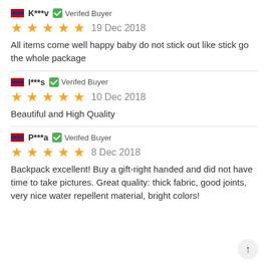K***v  Verifed Buyer
19 Dec 2018
All items come well happy baby do not stick out like stick go the whole package
I***s  Verifed Buyer
10 Dec 2018
Beautiful and High Quality
P***a  Verifed Buyer
8 Dec 2018
Backpack excellent! Buy a gift-right handed and did not have time to take pictures. Great quality: thick fabric, good joints, very nice water repellent material, bright colors!